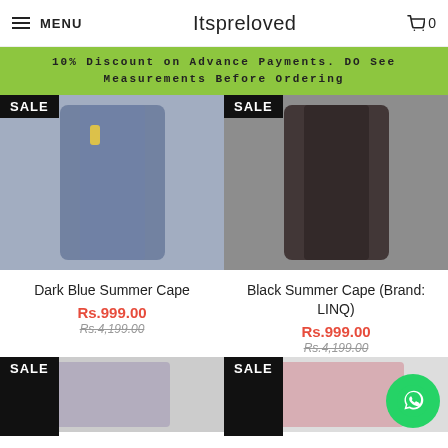MENU  Itspreloved  0
10% Discount on Advance Payments. DO See Measurements Before Ordering
[Figure (photo): Dark blue open-front summer cape with SALE badge, hanging on rack]
[Figure (photo): Black summer cape (Brand: LINQ) with SALE badge, hanging on rack]
Dark Blue Summer Cape
Rs.999.00
Rs.4,199.00
Black Summer Cape (Brand: LINQ)
Rs.999.00
Rs.4,199.00
[Figure (photo): Product with SALE badge, bottom left]
[Figure (photo): Product with SALE badge, bottom right]